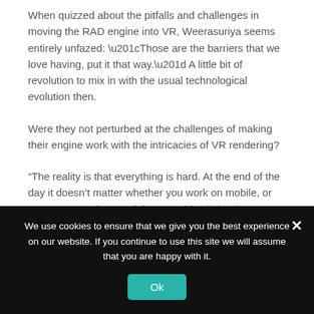When quizzed about the pitfalls and challenges in moving the RAD engine into VR, Weerasuriya seems entirely unfazed: “Those are the barriers that we love having, put it that way.” A little bit of revolution to mix in with the usual technological evolution then.
Were they not perturbed at the challenges of making their engine work with the intricacies of VR rendering?
“The reality is that everything is hard. At the end of the day it doesn’t matter whether you work on mobile, or VR, or PS4. Whatever it is, everything is hard,” Weerasuriya said. It’s a very pragmatic view to take, and suggests a fearlessness in the face of the technical hurdles. “It’s a brand new beast. You have no idea what it’s going to be
We use cookies to ensure that we give you the best experience on our website. If you continue to use this site we will assume that you are happy with it.